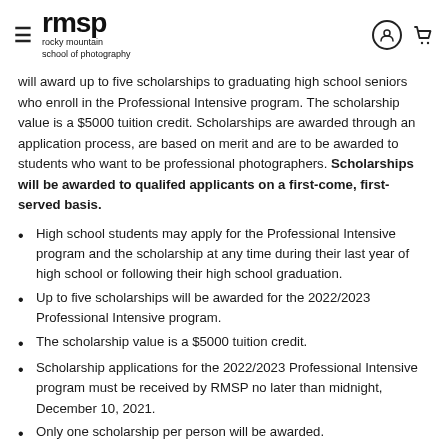rmsp / rocky mountain school of photography
will award up to five scholarships to graduating high school seniors who enroll in the Professional Intensive program. The scholarship value is a $5000 tuition credit. Scholarships are awarded through an application process, are based on merit and are to be awarded to students who want to be professional photographers. Scholarships will be awarded to qualifed applicants on a first-come, first-served basis.
High school students may apply for the Professional Intensive program and the scholarship at any time during their last year of high school or following their high school graduation.
Up to five scholarships will be awarded for the 2022/2023 Professional Intensive program.
The scholarship value is a $5000 tuition credit.
Scholarship applications for the 2022/2023 Professional Intensive program must be received by RMSP no later than midnight, December 10, 2021.
Only one scholarship per person will be awarded.
Only those students who graduate from high school in the same year as enrolling in the Professional Intensive program